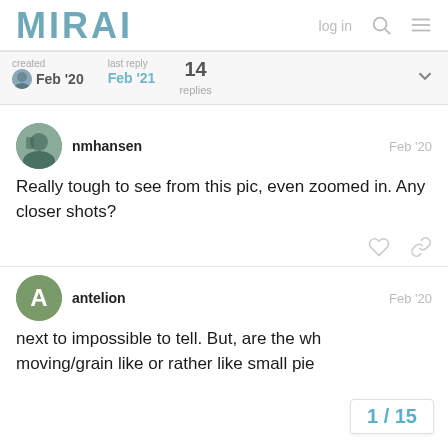MIRAI | log in
| created | last reply | 14 replies |
| --- | --- | --- |
| Feb '20 | Feb '21 |  |
nmhansen
Feb '20
Really tough to see from this pic, even zoomed in. Any closer shots?
antelion
Feb '20
next to impossible to tell. But, are the wh moving/grain like or rather like small pie
1 / 15